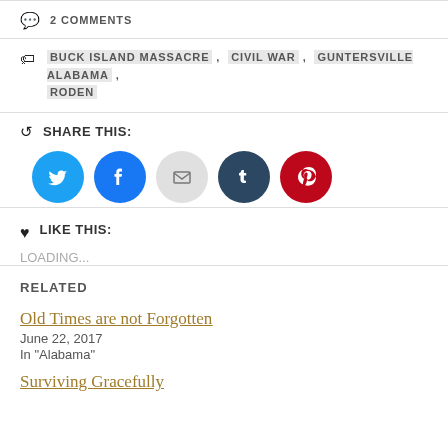2 COMMENTS
BUCK ISLAND MASSACRE , CIVIL WAR , GUNTERSVILLE ALABAMA , RODEN
SHARE THIS:
[Figure (other): Social share buttons: Twitter (blue), Facebook (blue), Email (grey), Tumblr (dark blue), Pinterest (red)]
LIKE THIS:
LOADING...
RELATED
Old Times are not Forgotten
June 22, 2017
In "Alabama"
Surviving Gracefully